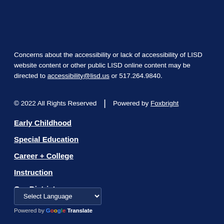Concerns about the accessibility or lack of accessibility of LISD website content or other public LISD online content may be directed to accessibility@lisd.us or 517.264.9840.
© 2022 All Rights Reserved | Powered by Foxbright
Early Childhood
Special Education
Career + College
Instruction
Our District
Select Language | Powered by Google Translate